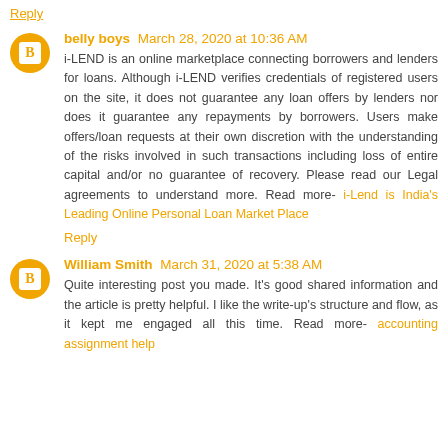Reply
belly boys March 28, 2020 at 10:36 AM
i-LEND is an online marketplace connecting borrowers and lenders for loans. Although i-LEND verifies credentials of registered users on the site, it does not guarantee any loan offers by lenders nor does it guarantee any repayments by borrowers. Users make offers/loan requests at their own discretion with the understanding of the risks involved in such transactions including loss of entire capital and/or no guarantee of recovery. Please read our Legal agreements to understand more. Read more- i-Lend is India's Leading Online Personal Loan Market Place
Reply
William Smith March 31, 2020 at 5:38 AM
Quite interesting post you made. It's good shared information and the article is pretty helpful. I like the write-up's structure and flow, as it kept me engaged all this time. Read more- accounting assignment help